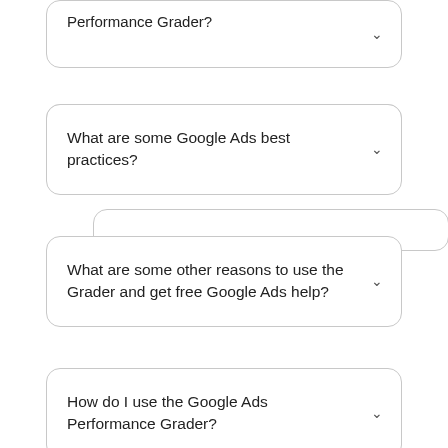Performance Grader?
What are some Google Ads best practices?
What are some other reasons to use the Grader and get free Google Ads help?
How do I use the Google Ads Performance Grader?
How are ties on a Google Ads